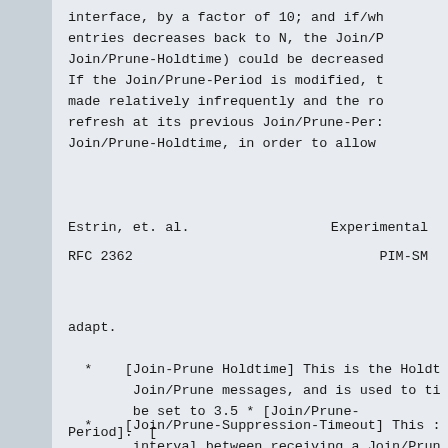interface, by a factor of 10; and if/wh entries decreases back to N, the Join/P Join/Prune-Holdtime) could be decreased If the Join/Prune-Period is modified, t made relatively infrequently and the ro refresh at its previous Join/Prune-Per: Join/Prune-Holdtime, in order to allow
Estrin, et. al.                        Experimental
RFC 2362                               PIM-SM
adapt.
*   [Join-Prune Holdtime] This is the Holdt Join/Prune messages, and is used to ti be set to 3.5 * [Join/Prune-Period]. [
*   [Join/Prune-Suppression-Timeout] This interval between receiving a Join/Prun